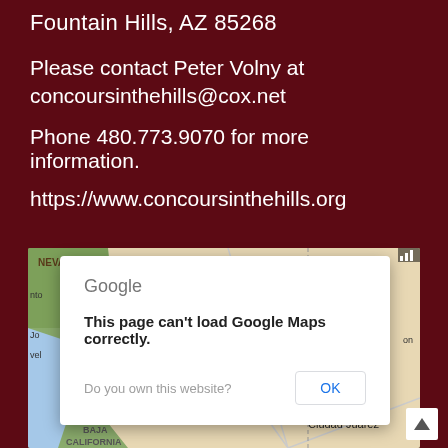Fountain Hills, AZ 85268
Please contact Peter Volny at concoursinthehills@cox.net
Phone 480.773.9070 for more information.
https://www.concoursinthehills.org
[Figure (screenshot): Google Maps embed showing a map of the southwestern United States including San Diego, Phoenix, Tucson, Ciudad Juárez, and Baja California, with a Google Maps error dialog overlay reading 'This page can't load Google Maps correctly.' with an OK button and 'Do you own this website?' prompt.]